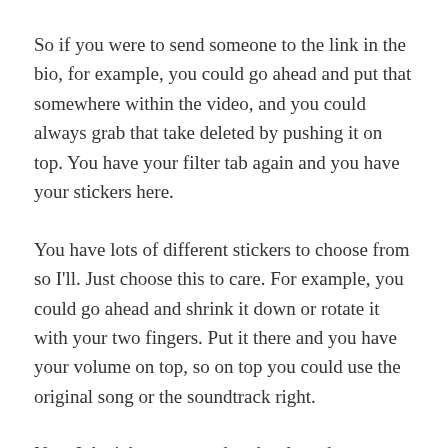So if you were to send someone to the link in the bio, for example, you could go ahead and put that somewhere within the video, and you could always grab that take deleted by pushing it on top. You have your filter tab again and you have your stickers here.
You have lots of different stickers to choose from so I'll. Just choose this to care. For example, you could go ahead and shrink it down or rotate it with your two fingers. Put it there and you have your volume on top, so on top you could use the original song or the soundtrack right.
Now I don't have a soundtrack selected, so you could go ahead on top press, select sound and choose some of these songs to edit to the video. So I could choose this song use this sound and it will now be edited with this video already and then I could press next and on this page